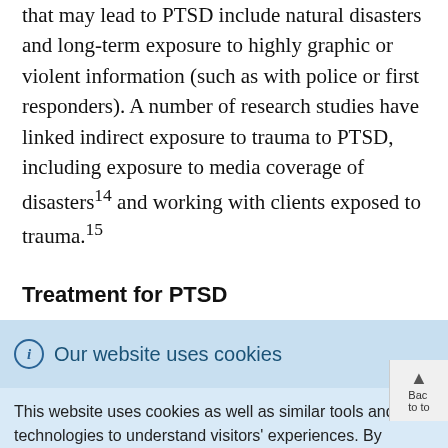that may lead to PTSD include natural disasters and long-term exposure to highly graphic or violent information (such as with police or first responders). A number of research studies have linked indirect exposure to trauma to PTSD, including exposure to media coverage of disasters¹⁴ and working with clients exposed to trauma.¹⁵
Treatment for PTSD
Our website uses cookies — This website uses cookies as well as similar tools and technologies to understand visitors' experiences. By continuing to use this website, you consent to Columbia University's usage of cookies and similar technologies in accordance with the Columbia University Website Cookie Notice.